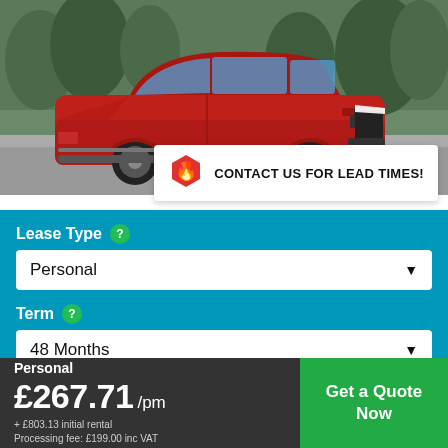[Figure (photo): Red Hyundai Kona SUV parked on a road with trees in the background. License plate EF70 PZM visible.]
CONTACT US FOR LEAD TIMES!
Lease Type
Personal
Term
48 Months
Personal £267.71 /pm + £803.13 initial rental Processing fee: £199.00 inc VAT
Get a Quote Now